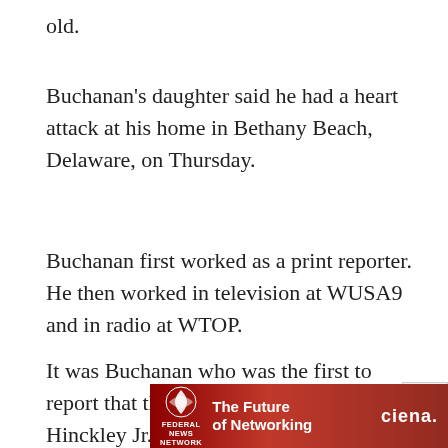old.
Buchanan's daughter said he had a heart attack at his home in Bethany Beach, Delaware, on Thursday.
Buchanan first worked as a print reporter. He then worked in television at WUSA9 and in radio at WTOP.
It was Buchanan who was the first to report that the motive behind John Hinckley Jr.'s assassination attempt on then-President Ronald Reagan in 1981 was to impress actress Jodie Foster (partially obscured by ad)
[Figure (infographic): Advertisement banner for Federal News Network: 'The Future of Networking' with Ciena logo, on a dark red background.]